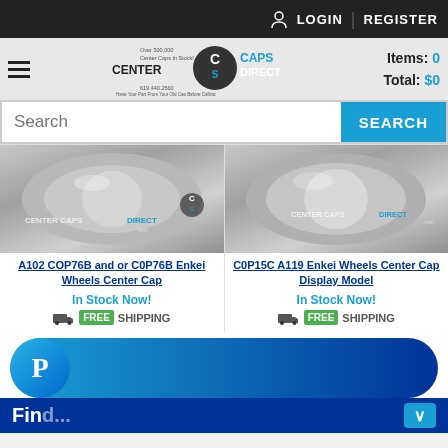LOGIN | REGISTER
[Figure (logo): Center Caps Direct logo with hamburger menu and cart info showing Items: 0, Total: $0]
Items: 0
Total: $0
Search
[Figure (photo): Silver Enkei wheel center cap product photo - A102 COP76B and or C0P76B Enkei Wheels Center Cap]
[Figure (photo): Silver Enkei wheel center cap product photo - C0P15C A119 Enkei Wheels Center Cap Display Model]
A102 COP76B and or C0P76B Enkei Wheels Center Cap
C0P15C A119 Enkei Wheels Center Cap Display Model
In Stock Now!
FREE SHIPPING
In Stock Now!
FREE SHIPPING
[Figure (logo): PayPal logo bar with blue gradient and P icon]
Find...